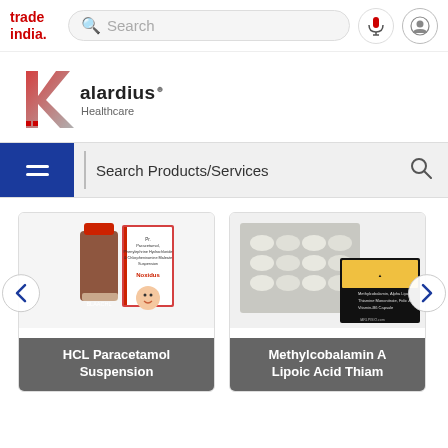trade india. [search bar] [mic icon] [user icon]
[Figure (logo): Kalardius Healthcare company logo with stylized K mark in red/grey gradient]
[Figure (screenshot): Search Products/Services bar with blue hamburger menu button and search icon]
[Figure (photo): Product card: HCL Paracetamol Suspension - medicine bottle with red cap and box with child image]
[Figure (photo): Product card: Methylcobalamin Alpha Lipoic Acid Thiamine - blister pack of capsules]